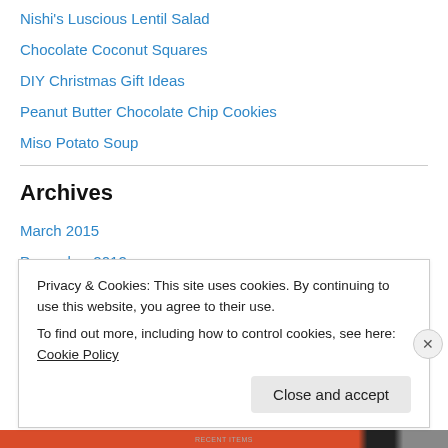Nishi's Luscious Lentil Salad
Chocolate Coconut Squares
DIY Christmas Gift Ideas
Peanut Butter Chocolate Chip Cookies
Miso Potato Soup
Archives
March 2015
December 2012
November 2012
October 2012
Privacy & Cookies: This site uses cookies. By continuing to use this website, you agree to their use.
To find out more, including how to control cookies, see here: Cookie Policy
Close and accept